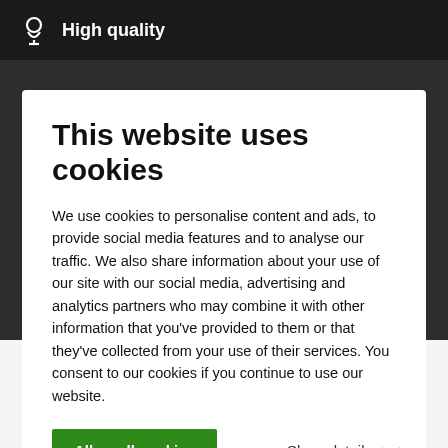High quality
This website uses cookies
We use cookies to personalise content and ads, to provide social media features and to analyse our traffic. We also share information about your use of our site with our social media, advertising and analytics partners who may combine it with other information that you've provided to them or that they've collected from your use of their services. You consent to our cookies if you continue to use our website.
Allow all cookies    Show details
Boot mats Subaru Forester
2016 - 2022  Select a different model
Here is a list of our Subaru Forester boot mats. The rubber that we use for our boot mats is strong and flexible and has a raised edge.  Read more